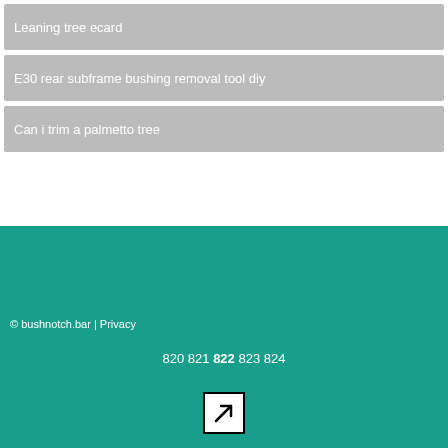Leaning tree ecard
E30 rear subframe bushing removal tool diy
Can i trim a palmetto tree
© bushnotch.bar | Privacy
820 821 822 823 824
[Figure (other): Arrow icon pointing upper-right in a bordered box]